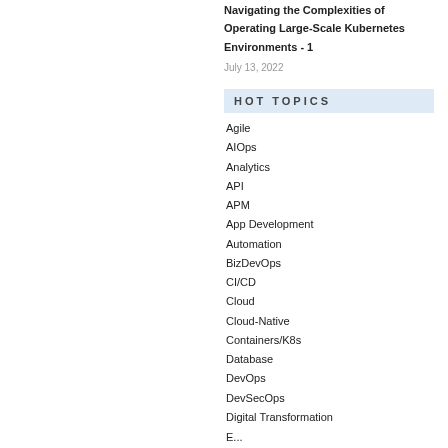Navigating the Complexities of Operating Large-Scale Kubernetes Environments - 1
July 13, 2022
HOT TOPICS
Agile
AIOps
Analytics
API
APM
App Development
Automation
BizDevOps
CI/CD
Cloud
Cloud-Native
Containers/K8s
Database
DevOps
DevSecOps
Digital Transformation
E...